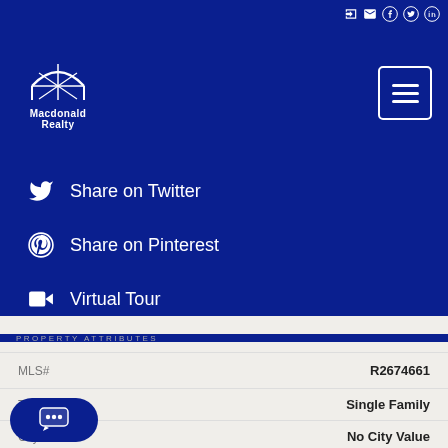Macdonald Realty
Share on Twitter
Share on Pinterest
Virtual Tour
PROPERTY ATTRIBUTES
| Attribute | Value |
| --- | --- |
| MLS# | R2674661 |
| Type | Single Family |
| City | No City Value |